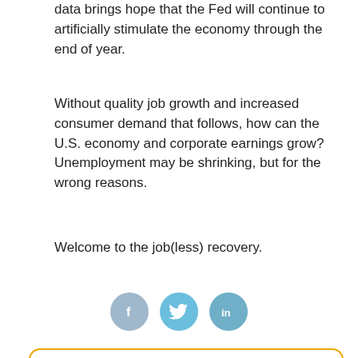data brings hope that the Fed will continue to artificially stimulate the economy through the end of year.
Without quality job growth and increased consumer demand that follows, how can the U.S. economy and corporate earnings grow?  Unemployment may be shrinking, but for the wrong reasons.
Welcome to the job(less) recovery.
[Figure (infographic): Three circular social media share icons: Facebook (f), Twitter (bird), and LinkedIn (in), styled in muted blue tones.]
[Figure (photo): Circular author photo of Kevin Painter, a man in a dark jacket, against a warm golden background.]
Kevin Painter